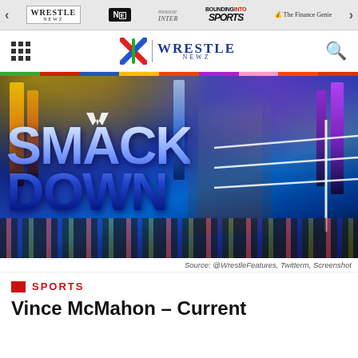WrestleNewz | NXT | Bounding Into Sports | The Finance Genie
[Figure (logo): WrestleNewz logo with X mark and search icon in main navigation header]
[Figure (photo): Vince McMahon standing in a WWE SmackDown ring holding a microphone, wearing a grey suit with pink tie, blue SmackDown signage visible behind him, bright stage lights, crowd in background]
Source: @WrestleFeatures, Twitterm, Screenshot
SPORTS
Vince McMahon – Current